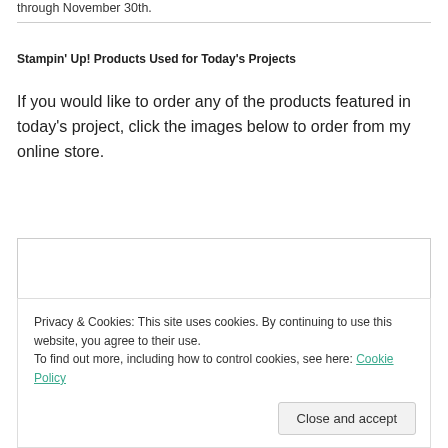through November 30th.
Stampin' Up! Products Used for Today's Projects
If you would like to order any of the products featured in today's project, click the images below to order from my online store.
[Figure (other): Product listing box showing Beautiful Bunch links in teal]
Privacy & Cookies: This site uses cookies. By continuing to use this website, you agree to their use.
To find out more, including how to control cookies, see here: Cookie Policy
Close and accept